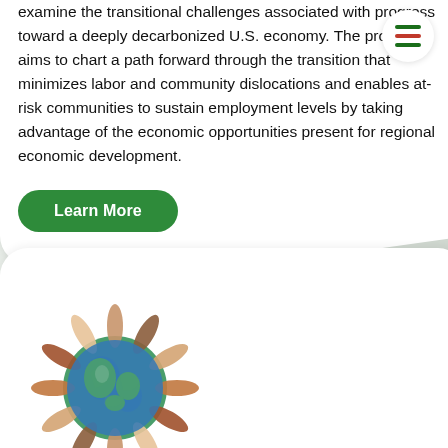examine the transitional challenges associated with progress toward a deeply decarbonized U.S. economy. The project aims to chart a path forward through the transition that minimizes labor and community dislocations and enables at-risk communities to sustain employment levels by taking advantage of the economic opportunities present for regional economic development.
Learn More
[Figure (illustration): Circular illustration showing diverse human hands reaching toward a globe of the Earth, symbolizing global community and cooperation.]